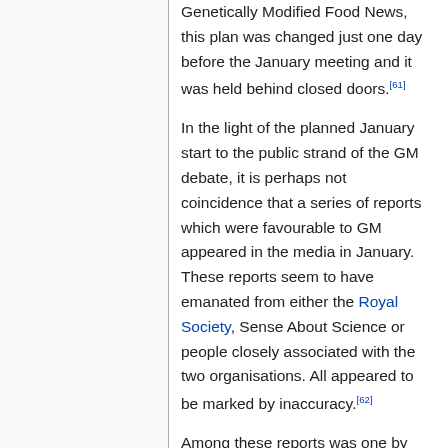Genetically Modified Food News, this plan was changed just one day before the January meeting and it was held behind closed doors.[61]
In the light of the planned January start to the public strand of the GM debate, it is perhaps not coincidence that a series of reports which were favourable to GM appeared in the media in January. These reports seem to have emanated from either the Royal Society, Sense About Science or people closely associated with the two organisations. All appeared to be marked by inaccuracy.[62]
Among these reports was one by the BBC's science correspondent Pallab Ghosh at the end of January stating that the British Medical Association (BMA) would be undertaking a new report on GM. The BMA's previous report had